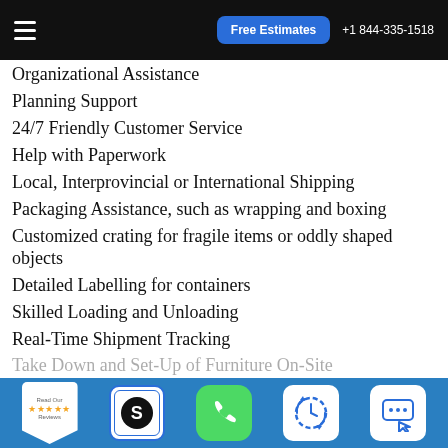Free Estimates  +1 844-335-1518
Organizational Assistance
Planning Support
24/7 Friendly Customer Service
Help with Paperwork
Local, Interprovincial or International Shipping
Packaging Assistance, such as wrapping and boxing
Customized crating for fragile items or oddly shaped objects
Detailed Labelling for containers
Skilled Loading and Unloading
Real-Time Shipment Tracking
Take Down and Set-Up of Furniture On-Site
[Figure (screenshot): Bottom toolbar with Read Our Reviews badge, S icon, green phone icon, clock/time icon, and chat icon on blue background]